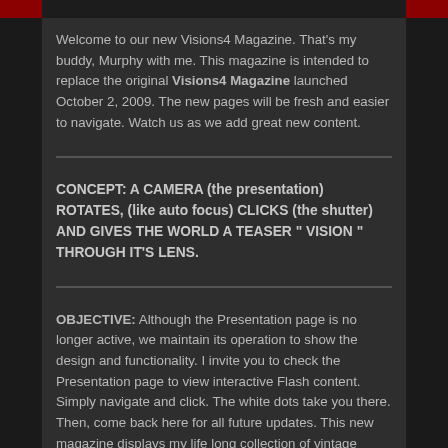Welcome to our new Visions4 Magazine. That's my buddy, Murphy with me. This magazine is intended to replace the original Visions4 Magazine launched October 2, 2009. The new pages will be fresh and easier to navigate. Watch us as we add great new content.
CONCEPT: A CAMERA (the presentation) ROTATES, (like auto focus) CLICKS (the shutter) AND GIVES THE WORLD A TEASER " VISION " THROUGH IT'S LENS.
OBJECTIVE: Although the Presentation page is no longer active, we maintain its operation to show the design and functionality. I invite you to check the Presentation page to view interactive Flash content. Simply navigate and click. The white dots take you there. Then, come back here for all future updates. This new magazine displays my life long collection of vintage televisions and